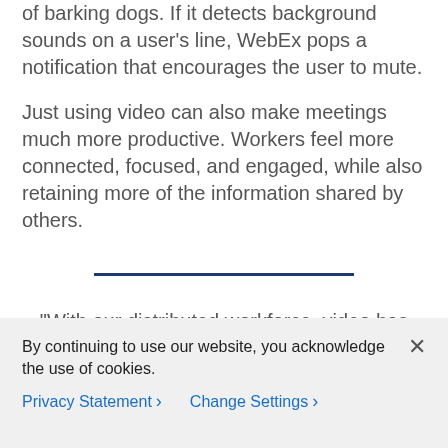of barking dogs. If it detects background sounds on a user's line, WebEx pops a notification that encourages the user to mute.
Just using video can also make meetings much more productive. Workers feel more connected, focused, and engaged, while also retaining more of the information shared by others.
[Figure (other): Horizontal dark navy blue divider line]
“With our distributed workforce, video has been a vital and natural way to keep people connected and productive.”
By continuing to use our website, you acknowledge the use of cookies.
Privacy Statement > Change Settings >